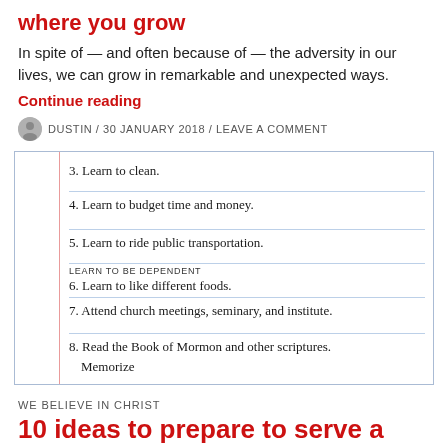where you grow
In spite of — and often because of — the adversity in our lives, we can grow in remarkable and unexpected ways.
Continue reading
DUSTIN / 30 JANUARY 2018 / LEAVE A COMMENT
[Figure (photo): Handwritten notebook list. Items visible: 3. Learn to clean. 4. Learn to budget time and money. 5. Learn to ride public transportation. LEARN TO BE DEPENDENT 6. Learn to like different foods. 7. Attend church meetings, seminary, and institute. 8. Read the Book of Mormon and other scriptures. Memorize]
WE BELIEVE IN CHRIST
10 ideas to prepare to serve a mission